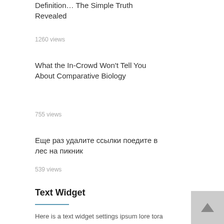Definition… The Simple Truth Revealed
1260 views
What the In-Crowd Won't Tell You About Comparative Biology
755 views
Еще раз удалите ссылки поедите в лес на пикник
539 views
Text Widget
Here is a text widget settings ipsum lore tora dolor sit amet volum. Maecenas est volum...